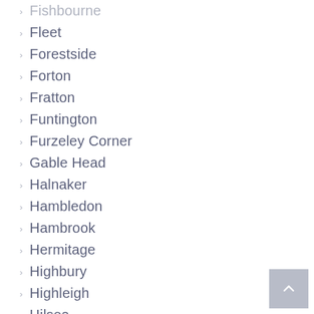Fishbourne
Fleet
Forestside
Forton
Fratton
Funtington
Furzeley Corner
Gable Head
Halnaker
Hambledon
Hambrook
Hermitage
Highbury
Highleigh
Hilsea